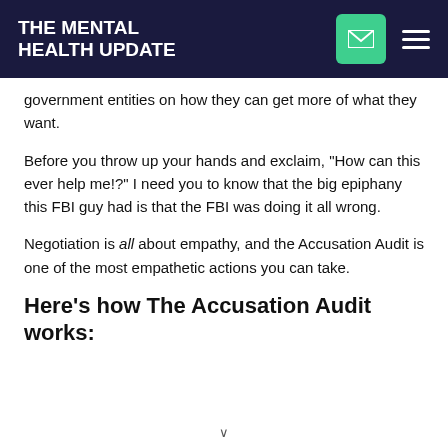THE MENTAL HEALTH UPDATE
government entities on how they can get more of what they want.
Before you throw up your hands and exclaim, "How can this ever help me!?" I need you to know that the big epiphany this FBI guy had is that the FBI was doing it all wrong.
Negotiation is all about empathy, and the Accusation Audit is one of the most empathetic actions you can take.
Here's how The Accusation Audit works: